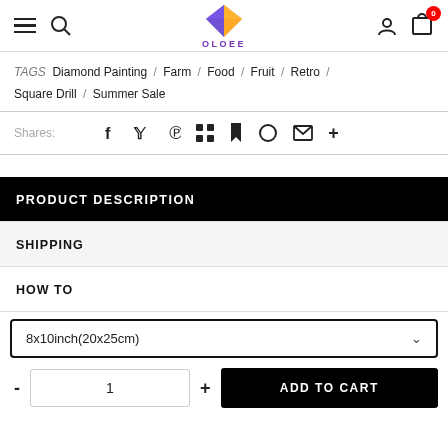OLOEE navigation bar with hamburger, search, logo, user, cart (0)
TAGS Diamond Painting / Farm / Food / Fruit / Retro / Square Drill / Summer Sale
Shares: f y p grid bookmark heart mail +
PRODUCT DESCRIPTION
SHIPPING
HOW TO
8x10inch(20x25cm)
- 1 + ADD TO CART